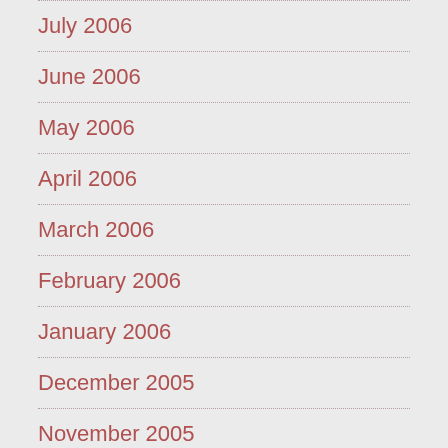July 2006
June 2006
May 2006
April 2006
March 2006
February 2006
January 2006
December 2005
November 2005
October 2005